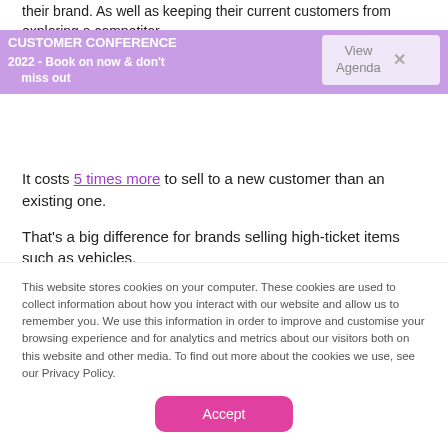their brand. As well as keeping their current customers from exploring a competitor.
[Figure (infographic): Purple banner advertisement: CUSTOMER CONFERENCE 2022 - Book on now & don't miss out, with a View Agenda button and close X]
Boost loyalty
It costs 5 times more to sell to a new customer than an existing one.
That's a big difference for brands selling high-ticket items such as vehicles.
Therefore, in an increasingly competitive landscape it's
This website stores cookies on your computer. These cookies are used to collect information about how you interact with our website and allow us to remember you. We use this information in order to improve and customise your browsing experience and for analytics and metrics about our visitors both on this website and other media. To find out more about the cookies we use, see our Privacy Policy.
Accept